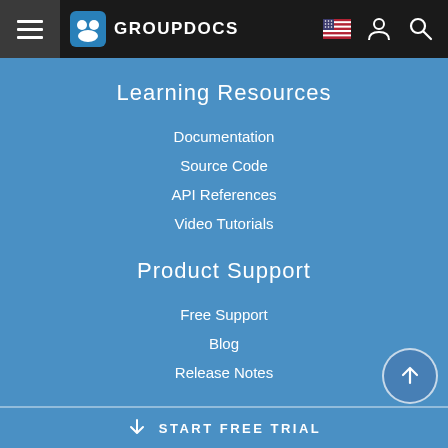GROUPDOCS
Learning Resources
Documentation
Source Code
API References
Video Tutorials
Product Support
Free Support
Blog
Release Notes
START FREE TRIAL